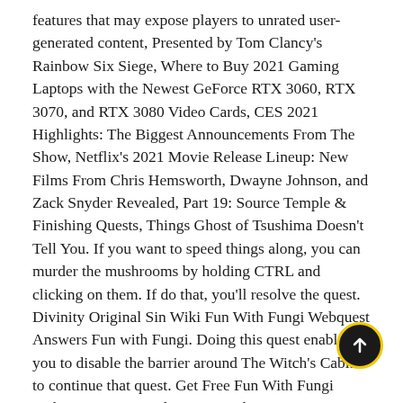features that may expose players to unrated user-generated content, Presented by Tom Clancy's Rainbow Six Siege, Where to Buy 2021 Gaming Laptops with the Newest GeForce RTX 3060, RTX 3070, and RTX 3080 Video Cards, CES 2021 Highlights: The Biggest Announcements From The Show, Netflix's 2021 Movie Release Lineup: New Films From Chris Hemsworth, Dwayne Johnson, and Zack Snyder Revealed, Part 19: Source Temple & Finishing Quests, Things Ghost of Tsushima Doesn't Tell You. If you want to speed things along, you can murder the mushrooms by holding CTRL and clicking on them. If do that, you'll resolve the quest. Divinity Original Sin Wiki Fun With Fungi Webquest Answers Fun with Fungi. Doing this quest enables you to disable the barrier around The Witch's Cabin to continue that quest. Get Free Fun With Fungi Webquest AnswersAlternate Mushroom Option: Toadstool; Note: There are reports that this quest changes with every play through. On